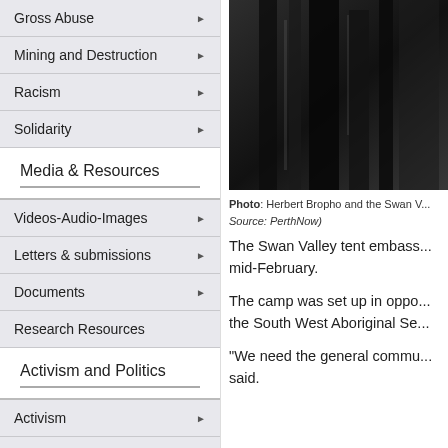Gross Abuse
Mining and Destruction
Racism
Solidarity
Media & Resources
Videos-Audio-Images
Letters & submissions
Documents
Research Resources
Activism and Politics
Activism
Politics
[Figure (photo): Herbert Bropho and the Swan Valley, dark background photo]
Photo: Herbert Bropho and the Swan V... Source: PerthNow)
The Swan Valley tent embass... mid-February.
The camp was set up in oppo... the South West Aboriginal Se...
"We need the general commu... said.